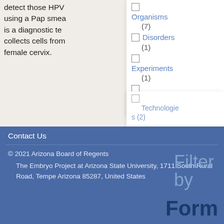detect those HPV using a Pap smear is a diagnostic te collects cells from female cervix.
Format: Graphics
Subject: Theories Disorders
Organisms (7)
Disorders (1)
Experiments (1)
Reproduction (1)
Technologies (2)
Filter by Form
Contact Us
© 2021 Arizona Board of Regents
The Embryo Project at Arizona State University, 1711 South Rural Road, Tempe Arizona 85287, United States